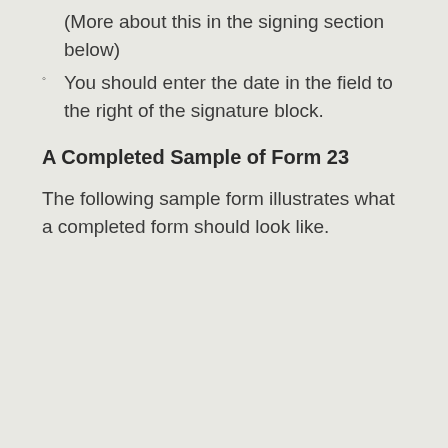(More about this in the signing section below)
You should enter the date in the field to the right of the signature block.
A Completed Sample of Form 23
The following sample form illustrates what a completed form should look like.